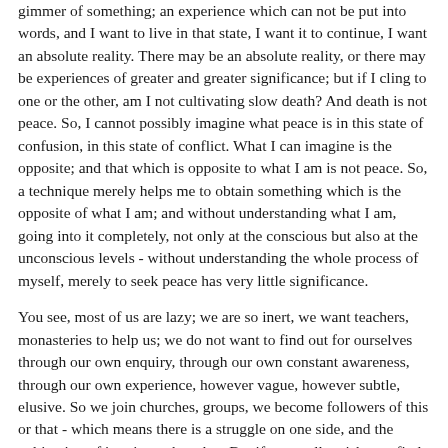gimmer of something; an experience which can not be put into words, and I want to live in that state, I want it to continue, I want an absolute reality. There may be an absolute reality, or there may be experiences of greater and greater significance; but if I cling to one or the other, am I not cultivating slow death? And death is not peace. So, I cannot possibly imagine what peace is in this state of confusion, in this state of conflict. What I can imagine is the opposite; and that which is opposite to what I am is not peace. So, a technique merely helps me to obtain something which is the opposite of what I am; and without understanding what I am, going into it completely, not only at the conscious but also at the unconscious levels - without understanding the whole process of myself, merely to seek peace has very little significance.
You see, most of us are lazy; we are so inert, we want teachers, monasteries to help us; we do not want to find out for ourselves through our own enquiry, through our own constant awareness, through our own experience, however vague, however subtle, elusive. So we join churches, groups, we become followers of this or that - which means there is a struggle on one side, and the cultivation of inertia on the other. But if one really wishes to find out, experience directly - and we can discuss what that experiencing is at another time - , then surely it is imperative that one put aside all these things and understand oneself. Self knowledge is the beginning of wisdom, and that alone can bring peace.